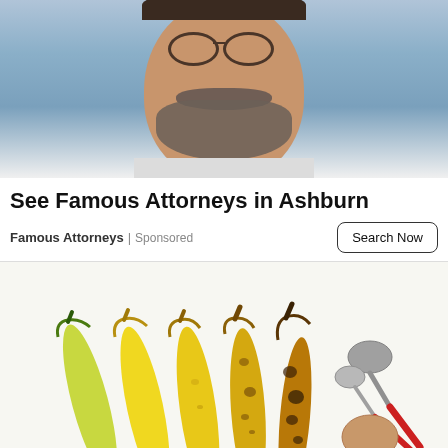[Figure (photo): Close-up photo of a middle-aged man with glasses, beard, and white shirt collar, smiling slightly, against a blurred blue-grey background]
See Famous Attorneys in Ashburn
Famous Attorneys | Sponsored
Search Now
[Figure (photo): Five bananas in a row arranged from greenish-yellow to very ripe/brown, alongside measuring spoons and an egg on a white background]